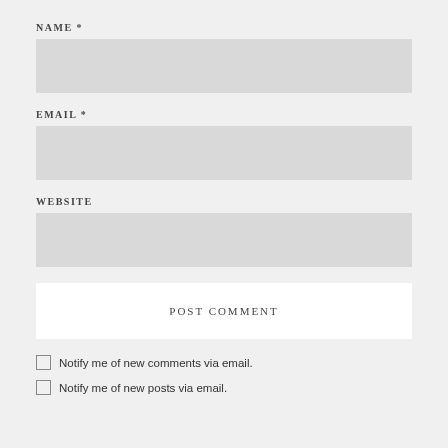NAME *
[Figure (other): Empty input field for Name]
EMAIL *
[Figure (other): Empty input field for Email]
WEBSITE
[Figure (other): Empty input field for Website]
POST COMMENT
Notify me of new comments via email.
Notify me of new posts via email.